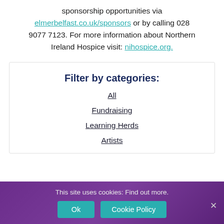sponsorship opportunities via elmerbelfast.co.uk/sponsors or by calling 028 9077 7123. For more information about Northern Ireland Hospice visit: nihospice.org.
Filter by categories:
All
Fundraising
Learning Herds
Artists
This site uses cookies: Find out more.